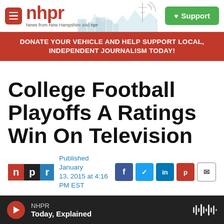nhpr — News from New Hampshire and NPR | Support
DONATE YOUR VEHICLE AND HELP SUPPORT LOCAL, INDEPENDENT JOURNALISM TODAY!
College Football Playoffs A Ratings Win On Television
Published January 13, 2015 at 4:16 PM EST
LISTEN • 3:12
NHPR · Today, Explained